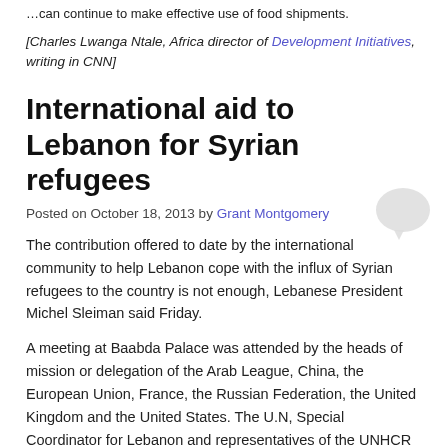…can continue to make effective use of food shipments.
[Charles Lwanga Ntale, Africa director of Development Initiatives, writing in CNN]
International aid to Lebanon for Syrian refugees
Posted on October 18, 2013 by Grant Montgomery
The contribution offered to date by the international community to help Lebanon cope with the influx of Syrian refugees to the country is not enough, Lebanese President Michel Sleiman said Friday.
A meeting at Baabda Palace was attended by the heads of mission or delegation of the Arab League, China, the European Union, France, the Russian Federation, the United Kingdom and the United States. The U.N, Special Coordinator for Lebanon and representatives of the UNHCR and the World Bank were also present.